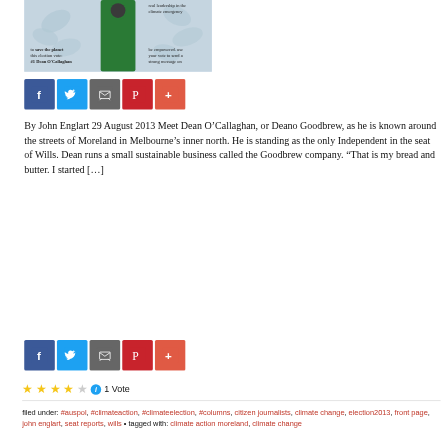[Figure (photo): Campaign image for Dean O'Callaghan showing a person in a green jacket with text about saving the planet and voting #1 Dean O'Callaghan, with real leadership in the climate emergency text and be empowered use your vote to send a strong message on text]
[Figure (infographic): Social share buttons: Facebook, Twitter, Email, Pinterest, More]
By John Englart 29 August 2013 Meet Dean O'Callaghan, or Deano Goodbrew, as he is known around the streets of Moreland in Melbourne's inner north. He is standing as the only Independent in the seat of Wills. Dean runs a small sustainable business called the Goodbrew company. “That is my bread and butter. I started […]
[Figure (infographic): Social share buttons: Facebook, Twitter, Email, Pinterest, More]
1 Vote
filed under: #auspol, #climateaction, #climateelection, #columns, citizen journalists, climate change, election2013, front page, john englart, seat reports, wills • tagged with: climate action moreland, climate change